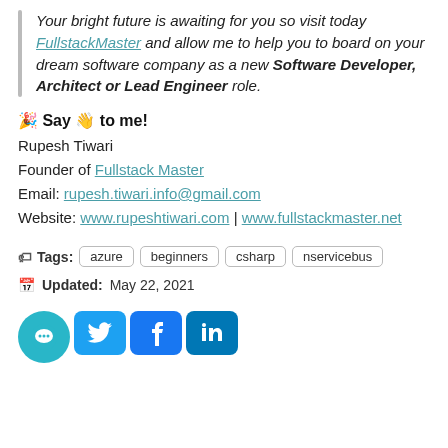Your bright future is awaiting for you so visit today FullstackMaster and allow me to help you to board on your dream software company as a new Software Developer, Architect or Lead Engineer role.
🎉 Say 👋 to me!
Rupesh Tiwari
Founder of Fullstack Master
Email: rupesh.tiwari.info@gmail.com
Website: www.rupeshtiwari.com | www.fullstackmaster.net
Tags: azure  beginners  csharp  nservicebus
Updated: May 22, 2021